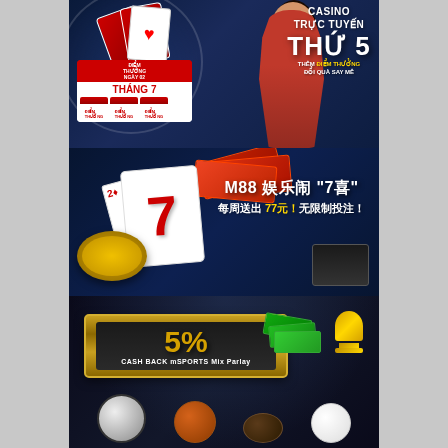[Figure (illustration): Casino trực tuyến promotional banner (Banner 1): Vietnamese casino promotion featuring a woman in red dress, playing cards, calendar marked 'THÁNG 7', and text 'CASINO TRỰC TUYẾN THỨ 5 THÊM ĐIỂM THƯỞNG ĐỔI QUÀ SAY MÊ'. Red and blue color scheme.]
[Figure (illustration): M88 casino promotion banner (Banner 2): Chinese language gaming promotion featuring cards with number 7, coins, money notes, and text 'M88 娱乐闹 7喜 每周送出 77元！无限制投注!']
[Figure (illustration): 5% Cash Back mSPORTS Mix Parlay banner (Banner 3): Sports betting promotion featuring 5% cashback offer displayed in gold banner, money notes, trophy, and sports balls (soccer, basketball, football, baseball) at bottom.]